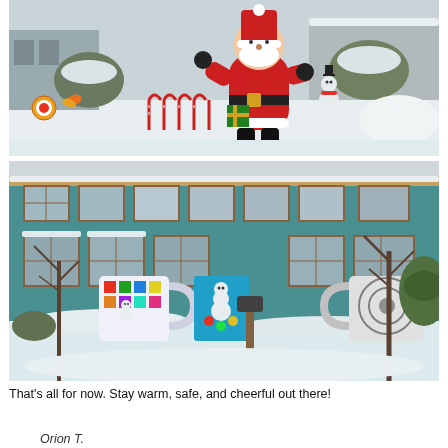[Figure (photo): Snowy front yard with large inflatable Santa Claus figure, a smaller snowman inflatable, candy cane decorations, and colorful yard ornaments. Houses and snow-covered trees in background.]
[Figure (photo): Snowy yard in front of a teal/green house with large decorative coffee mugs and colorful holiday decorations. Bare trees in foreground, snow on ground.]
That's all for now. Stay warm, safe, and cheerful out there!
Orion T.